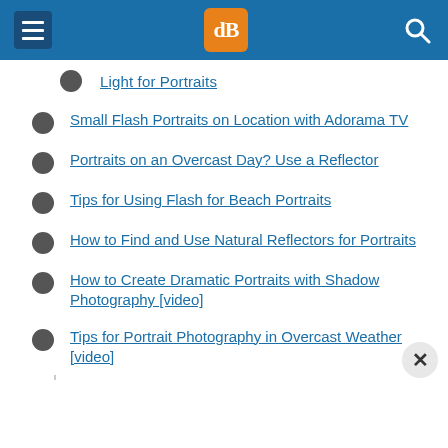dPS navigation bar with hamburger menu, dPS logo, and search icon
Light for Portraits (partial, truncated)
Small Flash Portraits on Location with Adorama TV
Portraits on an Overcast Day? Use a Reflector
Tips for Using Flash for Beach Portraits
How to Find and Use Natural Reflectors for Portraits
How to Create Dramatic Portraits with Shadow Photography [video]
Tips for Portrait Photography in Overcast Weather [video]